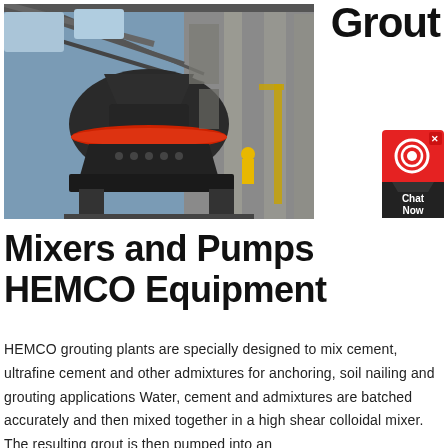Grout
[Figure (photo): Industrial heavy machinery equipment (cone crusher or similar) installed in a large factory/industrial building with steel structure and concrete pillars. A worker in yellow safety gear is visible in the background.]
[Figure (other): Chat Now widget button with headset icon on red background]
Mixers and Pumps HEMCO Equipment
HEMCO grouting plants are specially designed to mix cement, ultrafine cement and other admixtures for anchoring, soil nailing and grouting applications Water, cement and admixtures are batched accurately and then mixed together in a high shear colloidal mixer. The resulting grout is then pumped into an